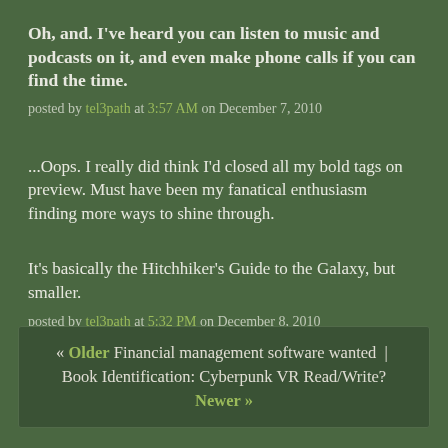Oh, and. I've heard you can listen to music and podcasts on it, and even make phone calls if you can find the time.
posted by tel3path at 3:57 AM on December 7, 2010
...Oops. I really did think I'd closed all my bold tags on preview. Must have been my fanatical enthusiasm finding more ways to shine through.
It's basically the Hitchhiker's Guide to the Galaxy, but smaller.
posted by tel3path at 5:32 PM on December 8, 2010
« Older Financial management software wanted | Book Identification: Cyberpunk VR Read/Write? Newer »